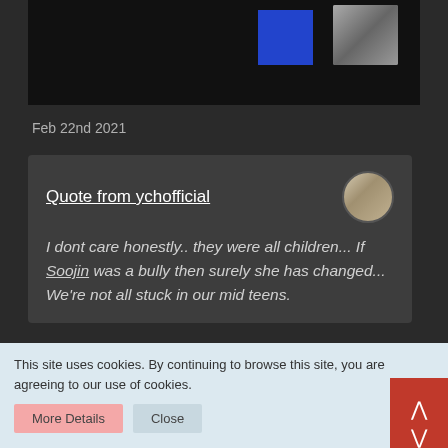[Figure (screenshot): Top section showing a dark background with a blue rectangle block and a small photo thumbnail]
Feb 22nd 2021
Quote from ychofficial
I dont care honestly.. they were all children... If Soojin was a bully then surely she has changed... We're not all stuck in our mid teens.
the most rational personal in the thread has d
This site uses cookies. By continuing to browse this site, you are agreeing to our use of cookies.
More Details   Close